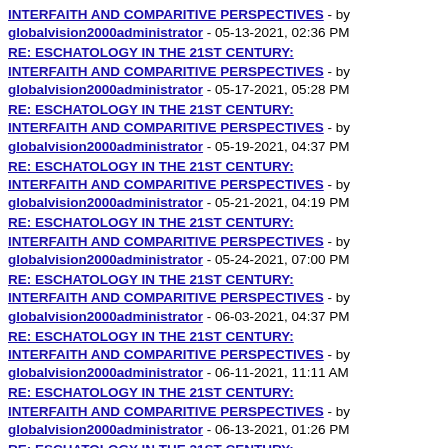INTERFAITH AND COMPARITIVE PERSPECTIVES - by globalvision2000administrator - 05-13-2021, 02:36 PM
RE: ESCHATOLOGY IN THE 21ST CENTURY: INTERFAITH AND COMPARITIVE PERSPECTIVES - by globalvision2000administrator - 05-17-2021, 05:28 PM
RE: ESCHATOLOGY IN THE 21ST CENTURY: INTERFAITH AND COMPARITIVE PERSPECTIVES - by globalvision2000administrator - 05-19-2021, 04:37 PM
RE: ESCHATOLOGY IN THE 21ST CENTURY: INTERFAITH AND COMPARITIVE PERSPECTIVES - by globalvision2000administrator - 05-21-2021, 04:19 PM
RE: ESCHATOLOGY IN THE 21ST CENTURY: INTERFAITH AND COMPARITIVE PERSPECTIVES - by globalvision2000administrator - 05-24-2021, 07:00 PM
RE: ESCHATOLOGY IN THE 21ST CENTURY: INTERFAITH AND COMPARITIVE PERSPECTIVES - by globalvision2000administrator - 06-03-2021, 04:37 PM
RE: ESCHATOLOGY IN THE 21ST CENTURY: INTERFAITH AND COMPARITIVE PERSPECTIVES - by globalvision2000administrator - 06-11-2021, 11:11 AM
RE: ESCHATOLOGY IN THE 21ST CENTURY: INTERFAITH AND COMPARITIVE PERSPECTIVES - by globalvision2000administrator - 06-13-2021, 01:26 PM
RE: ESCHATOLOGY IN THE 21ST CENTURY: INTERFAITH AND COMPARITIVE PERSPECTIVES - by